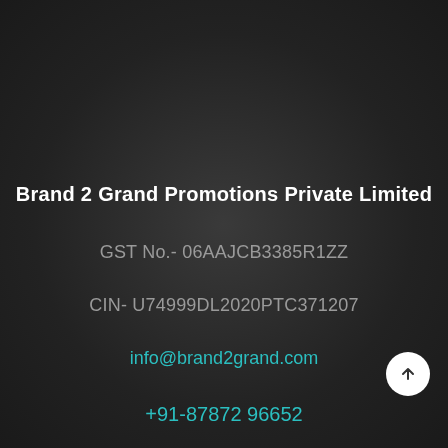Brand 2 Grand Promotions Private Limited
GST No.- 06AAJCB3385R1ZZ
CIN- U74999DL2020PTC371207
info@brand2grand.com
+91-87872 96652